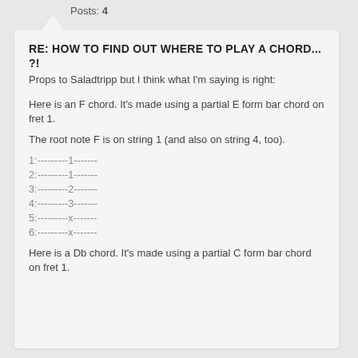Posts: 4
RE: HOW TO FIND OUT WHERE TO PLAY A CHORD... ?!
Props to Saladtripp but I think what I'm saying is right:
Here is an F chord.  It's made using a partial E form bar chord on fret 1.
The root note F is on string 1 (and also on string 4, too).
1:---------1-------
2:---------1-------
3:---------2-------
4:---------3-------
5:---------x-------
6:---------x-------
Here is a Db chord.  It's made using a partial C form bar chord on fret 1.